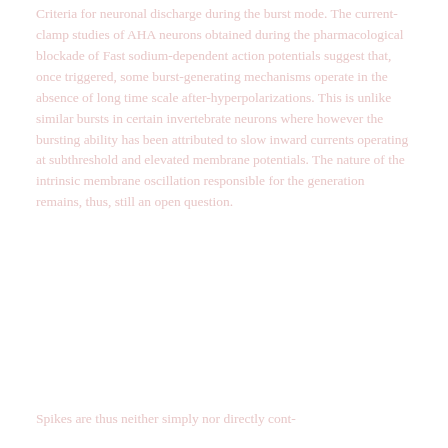Criteria for neuronal discharge during the burst mode. The current-clamp studies of AHA neurons obtained during the pharmacological blockade of Fast sodium-dependent action potentials suggest that, once triggered, some burst-generating mechanisms operate in the absence of long time scale after-hyperpolarizations. This is unlike similar bursts in certain invertebrate neurons where however the bursting ability has been attributed to slow inward currents operating at subthreshold and elevated membrane potentials. The nature of the intrinsic membrane oscillation responsible for the generation remains, thus, still an open question.
Spikes are thus neither simply nor directly cont-